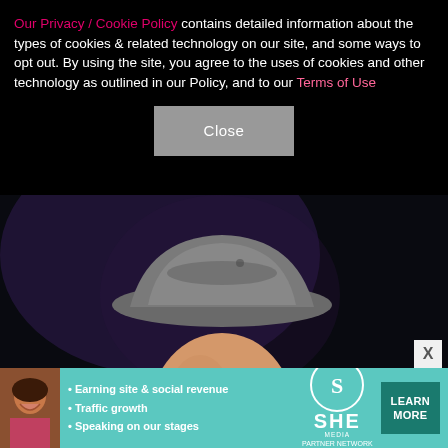Our Privacy / Cookie Policy contains detailed information about the types of cookies & related technology on our site, and some ways to opt out. By using the site, you agree to the uses of cookies and other technology as outlined in our Policy, and to our Terms of Use
Close
[Figure (photo): Young male performer smiling on stage, wearing a grey fedora hat and holding a microphone with a Z100 logo, on a dark stage background]
[Figure (infographic): Advertisement banner for SHE Media Partner Network with bullet points: Earning site & social revenue, Traffic growth, Speaking on our stages. Includes SHE logo and LEARN MORE button.]